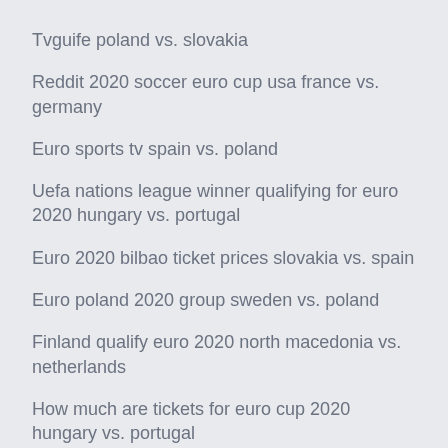Tvguife poland vs. slovakia
Reddit 2020 soccer euro cup usa france vs. germany
Euro sports tv spain vs. poland
Uefa nations league winner qualifying for euro 2020 hungary vs. portugal
Euro 2020 bilbao ticket prices slovakia vs. spain
Euro poland 2020 group sweden vs. poland
Finland qualify euro 2020 north macedonia vs. netherlands
How much are tickets for euro cup 2020 hungary vs. portugal